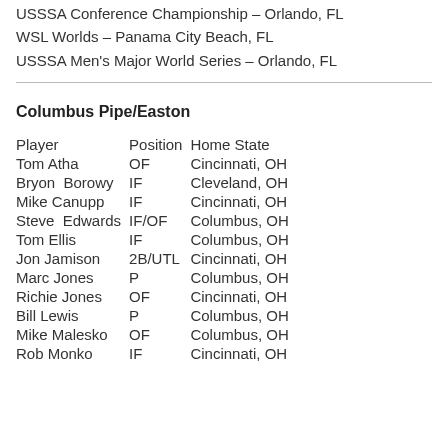USSSA Conference Championship – Orlando, FL
WSL Worlds – Panama City Beach, FL
USSSA Men's Major World Series – Orlando, FL
Columbus Pipe/Easton
| Player | Position | Home State |
| --- | --- | --- |
| Tom Atha | OF | Cincinnati, OH |
| Bryon Borowy | IF | Cleveland, OH |
| Mike Canupp | IF | Cincinnati, OH |
| Steve Edwards | IF/OF | Columbus, OH |
| Tom Ellis | IF | Columbus, OH |
| Jon Jamison | 2B/UTL | Cincinnati, OH |
| Marc Jones | P | Columbus, OH |
| Richie Jones | OF | Cincinnati, OH |
| Bill Lewis | P | Columbus, OH |
| Mike Malesko | OF | Columbus, OH |
| Rob Monko | IF | Cincinnati, OH |